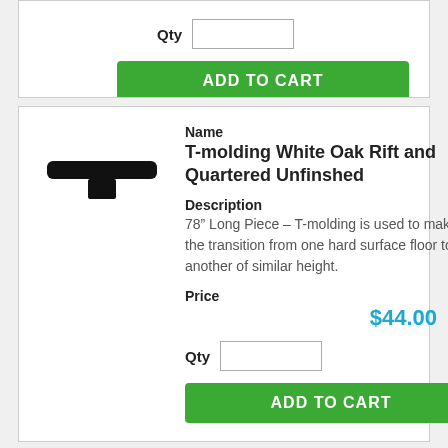Qty [input]
ADD TO CART
Name
T-molding White Oak Rift and Quartered Unfinshed
Description
78" Long Piece – T-molding is used to make the transition from one hard surface floor to another of similar height.
Price
$44.00
Qty [input]
ADD TO CART